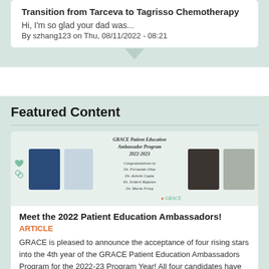Transition from Tarceva to Tagrisso Chemotherapy
Hi, I'm so glad your dad was...
By szhang123 on Thu, 08/11/2022 - 08:21
Featured Content
[Figure (photo): GRACE Patient Education Ambassador Program 2022-2023 banner with four ambassador photos and congratulations text for Dr. Fernando Diaz, Dr. Ashvin Gupta, Dr. Sridevi Rajanes, Dr. Maria Frieg]
Meet the 2022 Patient Education Ambassadors!
ARTICLE
GRACE is pleased to announce the acceptance of four rising stars into the 4th year of the GRACE Patient Education Ambassadors Program for the 2022-23 Program Year! All four candidates have